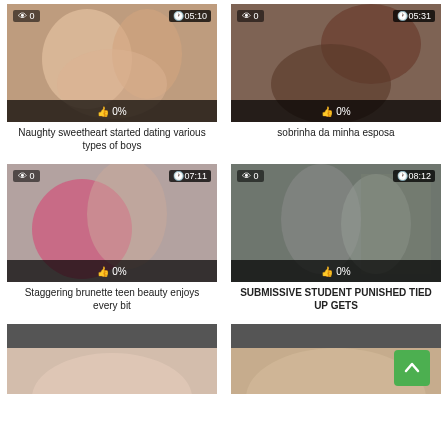[Figure (screenshot): Thumbnail image row 1 left with 0 views, 05:10 duration, 0% likes]
Naughty sweetheart started dating various types of boys
[Figure (screenshot): Thumbnail image row 1 right with 0 views, 05:31 duration, 0% likes]
sobrinha da minha esposa
[Figure (screenshot): Thumbnail image row 2 left with 0 views, 07:11 duration, 0% likes]
Staggering brunette teen beauty enjoys every bit
[Figure (screenshot): Thumbnail image row 2 right with 0 views, 08:12 duration, 0% likes]
SUBMISSIVE STUDENT PUNISHED TIED UP GETS
[Figure (screenshot): Thumbnail image row 3 left, partially visible]
[Figure (screenshot): Thumbnail image row 3 right, partially visible]